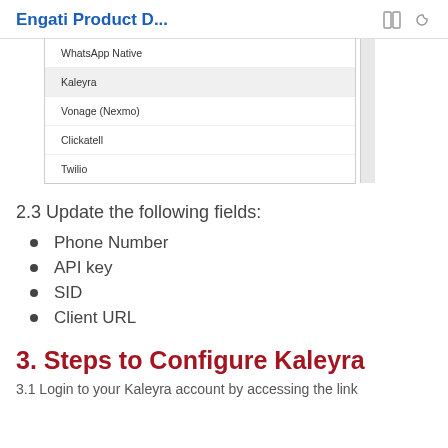Engati Product D...
[Figure (screenshot): A dropdown list showing WhatsApp integration options: WhatsApp Native, Kaleyra (highlighted), Vonage (Nexmo), Clickatell, Twilio]
2.3 Update the following fields:
Phone Number
API key
SID
Client URL
3. Steps to Configure Kaleyra
3.1 Login to your Kaleyra account by accessing the link